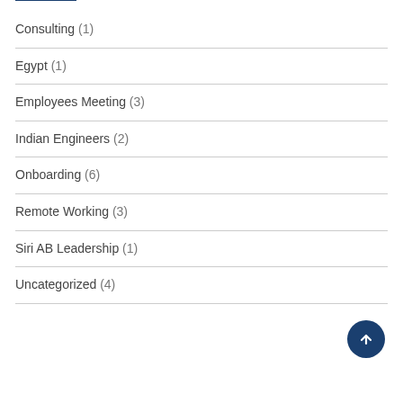Consulting (1)
Egypt (1)
Employees Meeting (3)
Indian Engineers (2)
Onboarding (6)
Remote Working (3)
Siri AB Leadership (1)
Uncategorized (4)